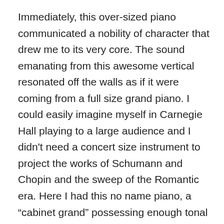Immediately, this over-sized piano communicated a nobility of character that drew me to its very core. The sound emanating from this awesome vertical resonated off the walls as if it were coming from a full size grand piano. I could easily imagine myself in Carnegie Hall playing to a large audience and I didn't need a concert size instrument to project the works of Schumann and Chopin and the sweep of the Romantic era. Here I had this no name piano, a “cabinet grand” possessing enough tonal resources to invite listeners into its magnificent sound universe. And aside from needing a good tuning, I couldn’t imagine eager beaver re-builders justifying a restoration. What would they do? Replace hammers that didn't need changing? Give it a new soundboard that did not appear cracked. A buyer had to be concerned about being approached by a contingent of refurbishing addicts who,